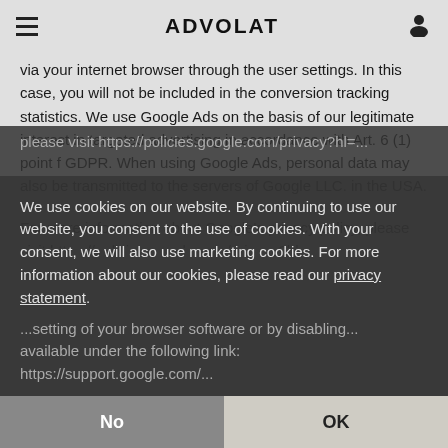ADVOLAT
via your internet browser through the user settings. In this case, you will not be included in the conversion tracking statistics. We use Google Ads on the basis of our legitimate interest in targeted advertising in accordance with Art. 6 (1) point f GDPR. When using Google Ads, personal data may also be transmitted to the servers of Google LLC. in the USA.

For more information about Google's privacy policy, please visit https://policies.google.com/privacy?hl=...
We use cookies on our website. By continuing to use our website, you consent to the use of cookies. With your consent, we will also use marketing cookies. For more information about our cookies, please read our privacy statement.
...setting of your browser software or by disabling... available under the following link: https://support.google.com/...